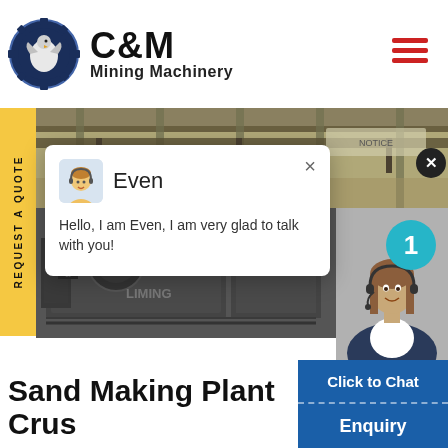[Figure (logo): C&M Mining Machinery logo with eagle in gear circle, navy blue, with company name text]
[Figure (photo): Factory/industrial warehouse background with steel beams and overhead cranes]
[Figure (screenshot): Chat popup overlay showing avatar of support agent named Even with greeting message]
[Figure (photo): Industrial sand making plant crusher machinery in dark gray]
[Figure (photo): Customer service woman wearing headset smiling, with teal badge showing number 1]
Even
Hello, I am Even, I am very glad to talk with you!
Click to Chat
Enquiry
Sand Making Plant Crus